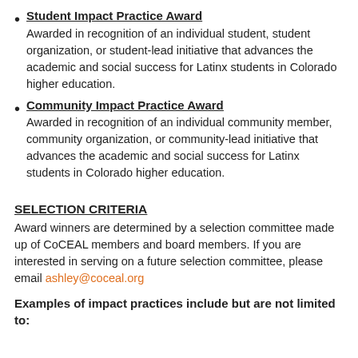Student Impact Practice Award
Awarded in recognition of an individual student, student organization, or student-lead initiative that advances the academic and social success for Latinx students in Colorado higher education.
Community Impact Practice Award
Awarded in recognition of an individual community member, community organization, or community-lead initiative that advances the academic and social success for Latinx students in Colorado higher education.
SELECTION CRITERIA
Award winners are determined by a selection committee made up of CoCEAL members and board members. If you are interested in serving on a future selection committee, please email ashley@coceal.org
Examples of impact practices include but are not limited to: